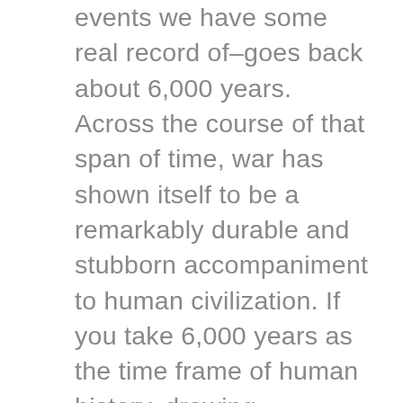events we have some real record of–goes back about 6,000 years. Across the course of that span of time, war has shown itself to be a remarkably durable and stubborn accompaniment to human civilization. If you take 6,000 years as the time frame of human history, drawing conclusions about the likelihood of war from evidence over the last 60 years is drawing conclusions based on 1 percent